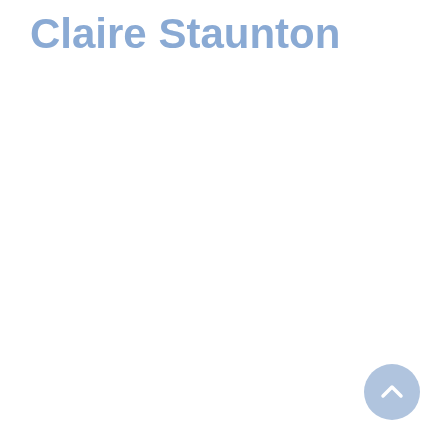Claire Staunton
[Figure (other): A circular back-to-top button with an upward chevron arrow, styled in muted blue-gray color, positioned in the bottom-right corner of the page.]